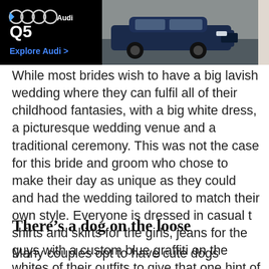[Figure (screenshot): Advertisement banner for Audi Q5. Black background on left with Audi logo rings, 'Audi' text, 'Q5' model name, and 'Explore Audi >' call to action in blue. Right side shows a dark blue Audi Q5 SUV parked against a stone wall background.]
While most brides wish to have a big lavish wedding where they can fulfil all of their childhood fantasies, with a big white dress, a picturesque wedding venue and a traditional ceremony. This was not the case for this bride and groom who chose to make their day as unique as they could and had the wedding tailored to match their own style. Everyone is dressed in casual t shirts and skirts for the girls, jeans for the guys with a custom blue graffiti on the whites of their outfits to give that one hint of personalization that was needed.
There’s a dog on the loose
Many couples opt to have cute dogs